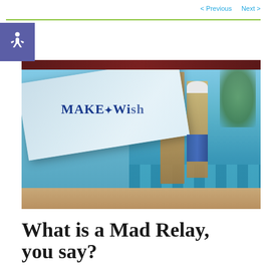< Previous   Next >
[Figure (photo): Outdoor swimming pool event with a large Make-A-Wish banner in the foreground. People including a child in swim gear stand by the pool on a sunny day.]
What is a Mad Relay, you say?